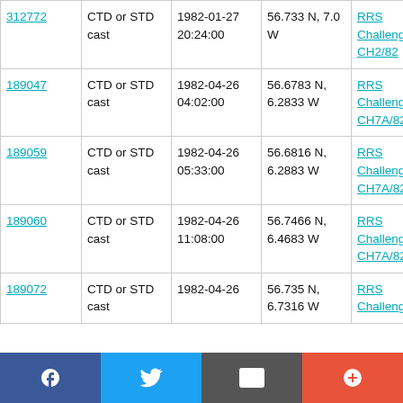| 312772 | CTD or STD cast | 1982-01-27 20:24:00 | 56.733 N, 7.0 W | RRS Challenger CH2/82 |
| 189047 | CTD or STD cast | 1982-04-26 04:02:00 | 56.6783 N, 6.2833 W | RRS Challenger CH7A/82 |
| 189059 | CTD or STD cast | 1982-04-26 05:33:00 | 56.6816 N, 6.2883 W | RRS Challenger CH7A/82 |
| 189060 | CTD or STD cast | 1982-04-26 11:08:00 | 56.7466 N, 6.4683 W | RRS Challenger CH7A/82 |
| 189072 | CTD or STD cast | 1982-04-26 | 56.735 N, 6.7316 W | RRS Challenger |